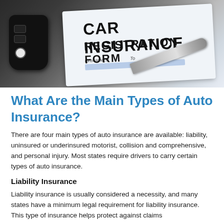[Figure (photo): Car insurance registration form document with a car key fob and pen placed on top, photographed from above at an angle. The form reads 'CAR INSURANCE REGISTRATION FORM' in bold text.]
What Are the Main Types of Auto Insurance?
There are four main types of auto insurance are available: liability, uninsured or underinsured motorist, collision and comprehensive, and personal injury. Most states require drivers to carry certain types of auto insurance.
Liability Insurance
Liability insurance is usually considered a necessity, and many states have a minimum legal requirement for liability insurance. This type of insurance helps protect against claims